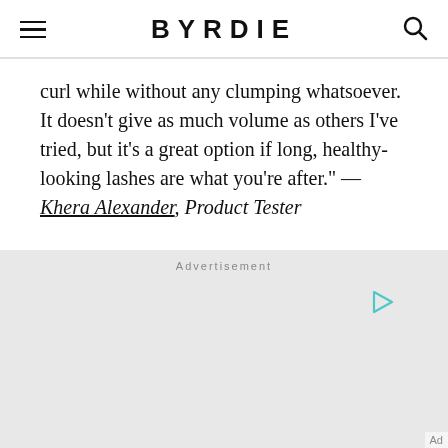BYRDIE
curl while without any clumping whatsoever. It doesn't give as much volume as others I've tried, but it's a great option if long, healthy-looking lashes are what you're after." —Khera Alexander, Product Tester
Advertisement